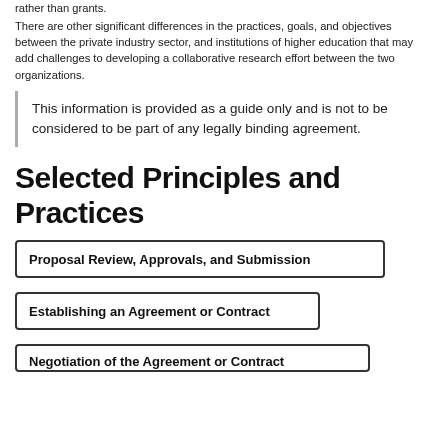rather than grants.
There are other significant differences in the practices, goals, and objectives between the private industry sector, and institutions of higher education that may add challenges to developing a collaborative research effort between the two organizations.
This information is provided as a guide only and is not to be considered to be part of any legally binding agreement.
Selected Principles and Practices
Proposal Review, Approvals, and Submission
Establishing an Agreement or Contract
Negotiation of the Agreement or Contract